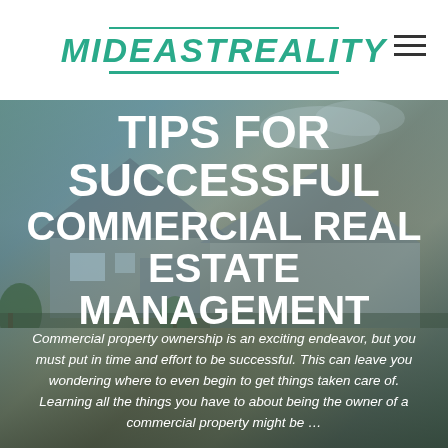MIDEASTREALITY
[Figure (photo): Exterior photo of a residential/commercial property with siding and garage, sky with clouds in background, used as a hero banner image with overlaid text]
TIPS FOR SUCCESSFUL COMMERCIAL REAL ESTATE MANAGEMENT
Commercial property ownership is an exciting endeavor, but you must put in time and effort to be successful. This can leave you wondering where to even begin to get things taken care of. Learning all the things you have to about being the owner of a commercial property might be …